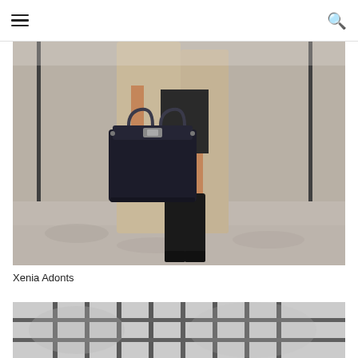Navigation header with hamburger menu and search icon
[Figure (photo): Street style fashion photo showing a person holding a black Hermès Birkin bag, wearing a beige/camel long coat, black mini skirt, and black knee-high riding boots, photographed on a cobblestone street]
Xenia Adonts
[Figure (photo): Partial street style fashion photo, blurred background with iron fence, beginning of another outfit photo]